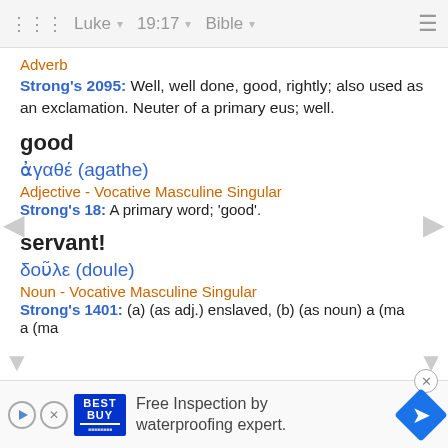Luke  19:17  Bible
Adverb
Strong's 2095: Well, well done, good, rightly; also used as an exclamation. Neuter of a primary eus; well.
good
ἀγαθέ (agathe)
Adjective - Vocative Masculine Singular
Strong's 18: A primary word; 'good'.
servant!
δοῦλε (doule)
Noun - Vocative Masculine Singular
Strong's 1401: (a) (as adj.) enslaved, (b) (as noun) a (ma...